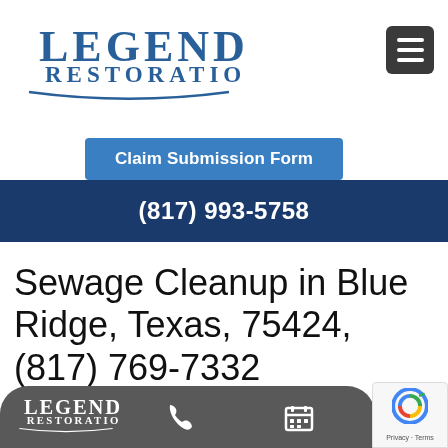[Figure (logo): Legend Restoration company logo with blue text and arc underline]
[Figure (other): Dark grey hamburger menu icon (three horizontal lines)]
Claim Submission Form
(817) 993-5758
Sewage Cleanup in Blue Ridge, Texas, 75424, (817) 769-7332
[Figure (logo): Bottom bar with Legend Restoration logo, phone icon, calendar icon, and reCAPTCHA badge]
Privacy · Terms